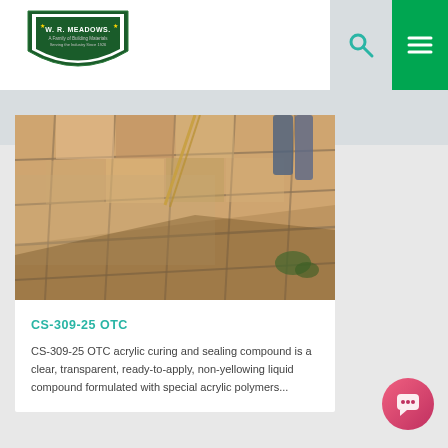[Figure (logo): W.R. Meadows shield logo with company name]
[Figure (photo): Stamped concrete floor tiles being sealed, person visible in background]
CS-309-25 OTC
CS-309-25 OTC acrylic curing and sealing compound is a clear, transparent, ready-to-apply, non-yellowing liquid compound formulated with special acrylic polymers...